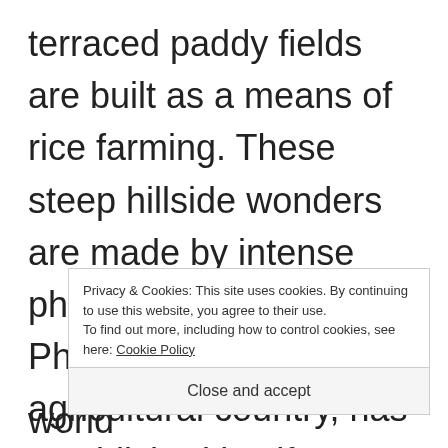terraced paddy fields are built as a means of rice farming. These steep hillside wonders are made by intense physical labor. The Philippines, being an agricultural country, has established itself as th a world
Privacy & Cookies: This site uses cookies. By continuing to use this website, you agree to their use.
To find out more, including how to control cookies, see here: Cookie Policy
Close and accept